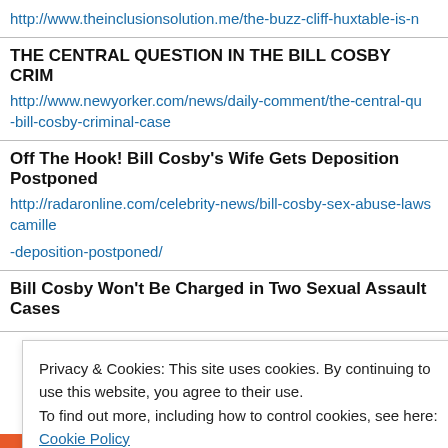http://www.theinclusionsolution.me/the-buzz-cliff-huxtable-is-n
THE CENTRAL QUESTION IN THE BILL COSBY CRIM
http://www.newyorker.com/news/daily-comment/the-central-qu -bill-cosby-criminal-case
Off The Hook! Bill Cosby's Wife Gets Deposition Postponed
http://radaronline.com/celebrity-news/bill-cosby-sex-abuse-laws camille -deposition-postponed/
Bill Cosby Won't Be Charged in Two Sexual Assault Cases
Privacy & Cookies: This site uses cookies. By continuing to use this website, you agree to their use.
To find out more, including how to control cookies, see here: Cookie Policy